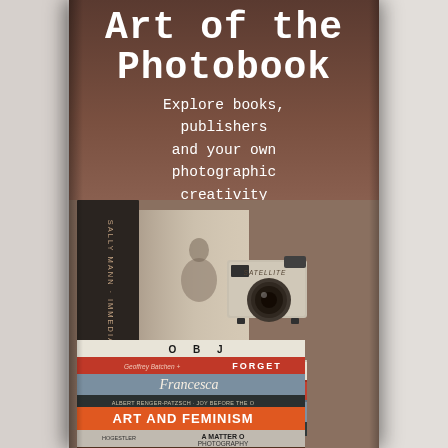Art of the Photobook
Explore books, publishers and your own photographic creativity
[Figure (photo): A stack of photography books including Sally Mann Immediate Family, OBJ, Geoffrey Batchen Forget, Francesca..., Albert Renger-Patzsch Joy Before the O..., Art and Feminism, Hogestler A Matter of Photography, and Annie Leibovitz at the bottom. A vintage Satellite camera sits on top of the stack. A large photography book leans against the wall behind.]